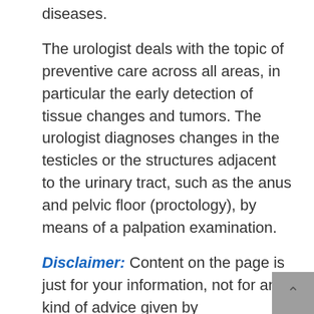diseases.
The urologist deals with the topic of preventive care across all areas, in particular the early detection of tissue changes and tumors. The urologist diagnoses changes in the testicles or the structures adjacent to the urinary tract, such as the anus and pelvic floor (proctology), by means of a palpation examination.
Disclaimer: Content on the page is just for your information, not for any kind of advice given by BusinessIdeasUSA.com. So this website does not take any kind of responsibility regarding the content. If you feel that provided content is not